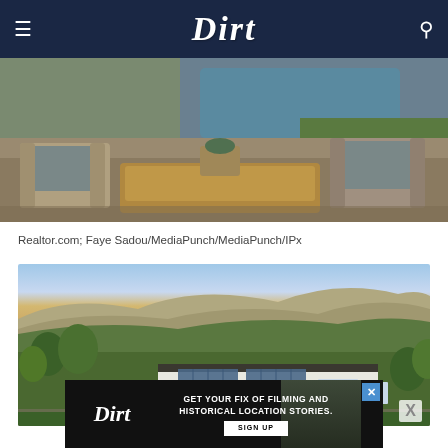Dirt
[Figure (photo): Outdoor patio area with wicker furniture, coffee table, and pool in background]
Realtor.com; Faye Sadou/MediaPunch/MediaPunch/IPx
[Figure (photo): Aerial view of a ranch-style house with solar panels, surrounded by trees and hills in the background]
[Figure (other): Advertisement banner: Dirt logo with text GET YOUR FIX OF FILMING AND HISTORICAL LOCATION STORIES. SIGN UP]